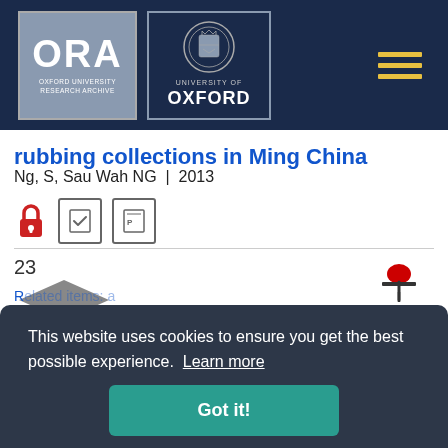[Figure (logo): ORA Oxford University Research Archive logo and University of Oxford crest logo in dark navy header bar with hamburger menu icon]
rubbing collections in Ming China
Ng, S, Sau Wah NG  |  2013
[Figure (infographic): Open access lock icon (red), peer review badge icon, and publisher PDF badge icon]
23
[Figure (illustration): Graduation cap icon and open book icon in grey]
[Figure (infographic): TO TOP pin/arrow navigation button]
This website uses cookies to ensure you get the best possible experience.  Learn more
Got it!